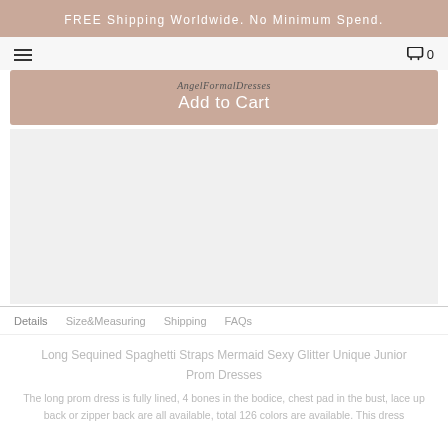FREE Shipping Worldwide. No Minimum Spend.
AngelFormalDresses
Add to Cart
[Figure (other): Product image area, blank/white space showing a product photo placeholder]
Details   Size&Measuring   Shipping   FAQs
Long Sequined Spaghetti Straps Mermaid Sexy Glitter Unique Junior Prom Dresses
The long prom dress is fully lined, 4 bones in the bodice, chest pad in the bust, lace up back or zipper back are all available, total 126 colors are available. This dress